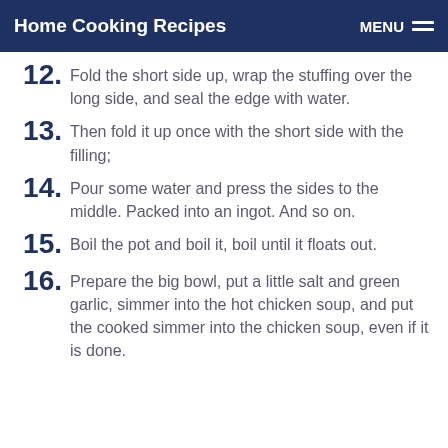Home Cooking Recipes
12. Fold the short side up, wrap the stuffing over the long side, and seal the edge with water.
13. Then fold it up once with the short side with the filling;
14. Pour some water and press the sides to the middle. Packed into an ingot. And so on.
15. Boil the pot and boil it, boil until it floats out.
16. Prepare the big bowl, put a little salt and green garlic, simmer into the hot chicken soup, and put the cooked simmer into the chicken soup, even if it is done.